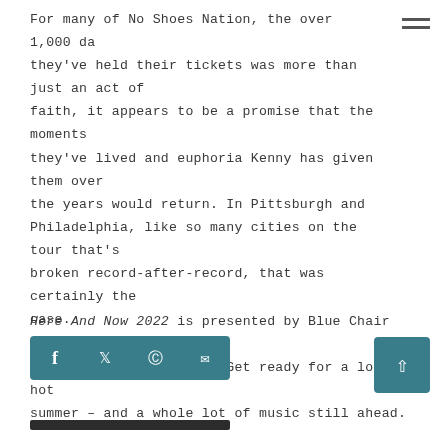For many of No Shoes Nation, the over 1,000 days they've held their tickets was more than just an act of faith, it appears to be a promise that the moments they've lived and euphoria Kenny has given them over the years would return. In Pittsburgh and Philadelphia, like so many cities on the tour that's broken record-after-record, that was certainly the case.
Here And Now 2022 is presented by Blue Chair Bay and fueled by MARATHON. Get ready for a long hot summer – and a whole lot of music still ahead.